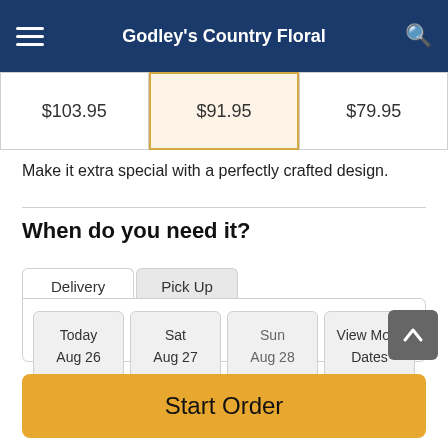Godley's Country Floral
| $103.95 | $91.95 | $79.95 |
Make it extra special with a perfectly crafted design.
When do you need it?
Delivery | Pick Up
Today Aug 26 | Sat Aug 27 | Sun Aug 28 | View More Dates
Available starting August 31
Shop arrangements available now ►
Start Order